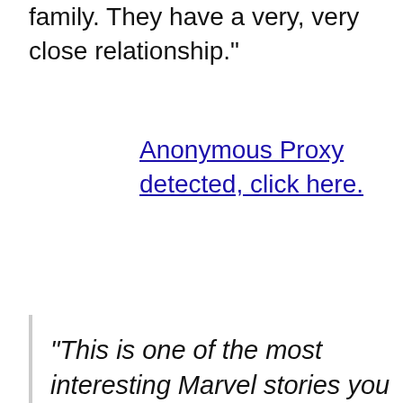family. They have a very, very close relationship."
Anonymous Proxy detected, click here.
“This is one of the most interesting Marvel stories you